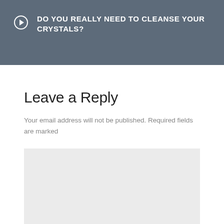DO YOU REALLY NEED TO CLEANSE YOUR CRYSTALS?
Leave a Reply
Your email address will not be published. Required fields are marked
[Figure (other): Empty comment text area input box with light grey background]